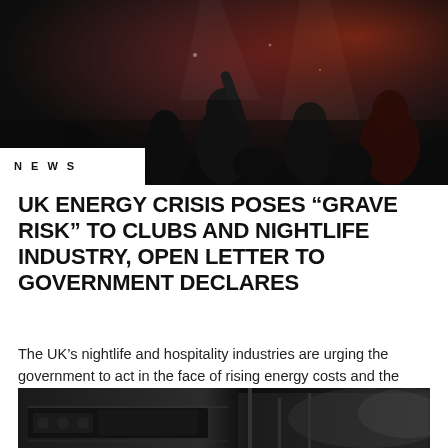[Figure (photo): Dark nightclub scene with crowd of people with hands raised, lit by dramatic lighting with reddish tones in the background]
NEWS
UK ENERGY CRISIS POSES “GRAVE RISK” TO CLUBS AND NIGHTLIFE INDUSTRY, OPEN LETTER TO GOVERNMENT DECLARES
The UK’s nightlife and hospitality industries are urging the government to act in the face of rising energy costs and the “grave risk” to the…
[Figure (photo): Black and white photo of industrial or musical equipment, possibly DJ equipment or machinery in a dark setting]